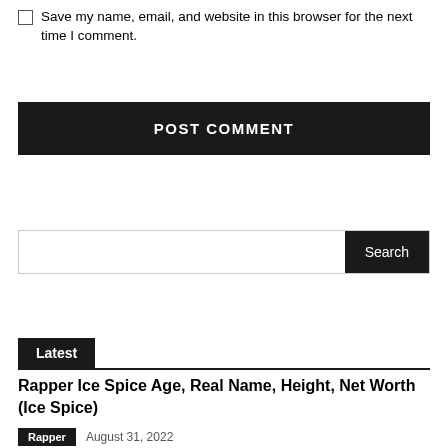Save my name, email, and website in this browser for the next time I comment.
POST COMMENT
Search
Latest
Rapper Ice Spice Age, Real Name, Height, Net Worth (Ice Spice)
Rapper  August 31, 2022